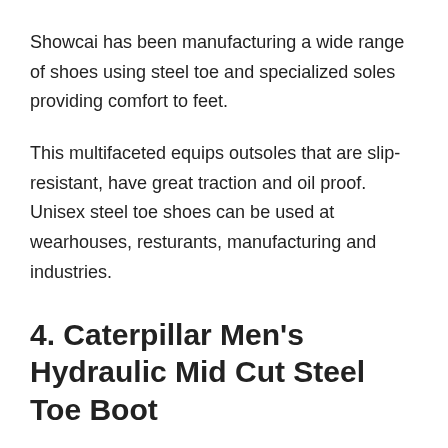Showcai has been manufacturing a wide range of shoes using steel toe and specialized soles providing comfort to feet.
This multifaceted equips outsoles that are slip-resistant, have great traction and oil proof. Unisex steel toe shoes can be used at wearhouses, resturants, manufacturing and industries.
4. Caterpillar Men's Hydraulic Mid Cut Steel Toe Boot